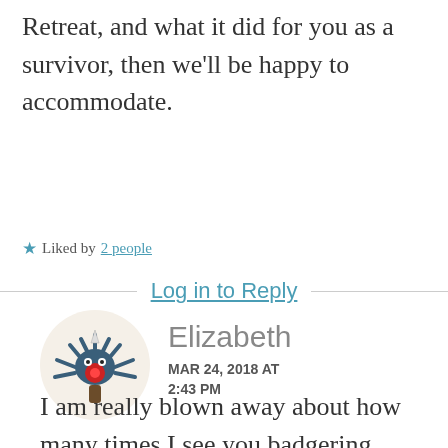Retreat, and what it did for you as a survivor, then we'll be happy to accommodate.
★ Liked by 2 people
Log in to Reply
[Figure (illustration): Cartoon avatar of a quirky creature resembling a blue octopus-like monster with a red flower in the center, standing on a brown tree trunk, with a unicorn horn on its head]
Elizabeth
MAR 24, 2018 AT 2:43 PM
I am really blown away about how many times I see you badgering women to share their personal